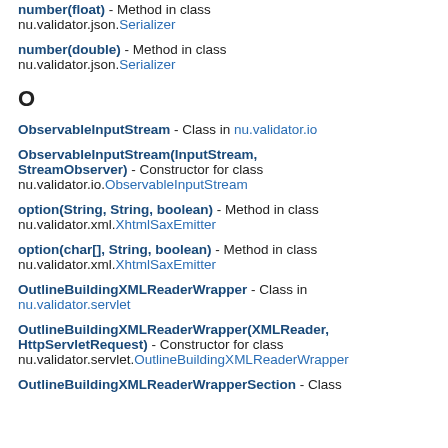number(float) - Method in class nu.validator.json.Serializer
number(double) - Method in class nu.validator.json.Serializer
O
ObservableInputStream - Class in nu.validator.io
ObservableInputStream(InputStream, StreamObserver) - Constructor for class nu.validator.io.ObservableInputStream
option(String, String, boolean) - Method in class nu.validator.xml.XhtmlSaxEmitter
option(char[], String, boolean) - Method in class nu.validator.xml.XhtmlSaxEmitter
OutlineBuildingXMLReaderWrapper - Class in nu.validator.servlet
OutlineBuildingXMLReaderWrapper(XMLReader, HttpServletRequest) - Constructor for class nu.validator.servlet.OutlineBuildingXMLReaderWrapper
OutlineBuildingXMLReaderWrapperSection - Class